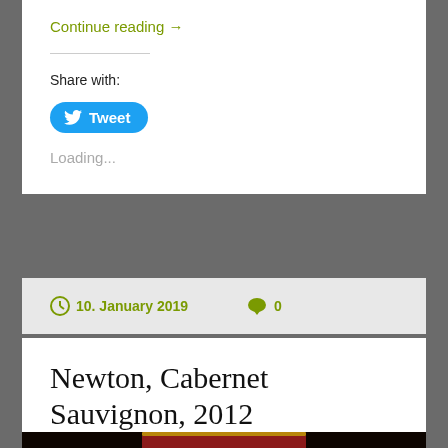Continue reading →
Share with:
[Figure (other): Twitter Tweet button — blue pill-shaped button with bird icon and 'Tweet' label]
Loading...
10. January 2019   0
Newton, Cabernet Sauvignon, 2012
[Figure (photo): Bottom portion of a wine bottle photograph showing dark background with red wine bottle capsule with gold foil top]